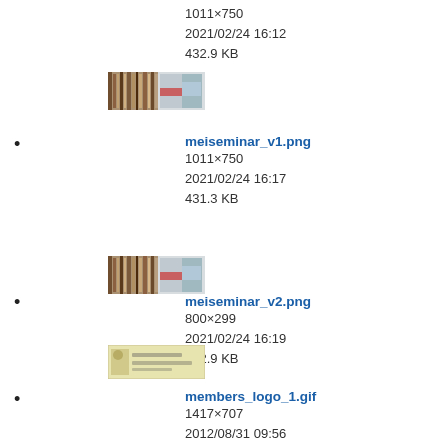1011×750
2021/02/24 16:12
432.9 KB
[Figure (screenshot): Thumbnail image of meiseminar file, small preview showing bookshelf and poster]
meiseminar_v1.png
1011×750
2021/02/24 16:17
431.3 KB
[Figure (screenshot): Thumbnail image of meiseminar_v1.png, larger preview showing bookshelf and poster]
meiseminar_v2.png
800×299
2021/02/24 16:19
582.9 KB
[Figure (screenshot): Thumbnail image of members_logo_1.gif, yellowish background with text logo]
members_logo_1.gif
1417×707
2012/08/31 09:56
24.9 KB